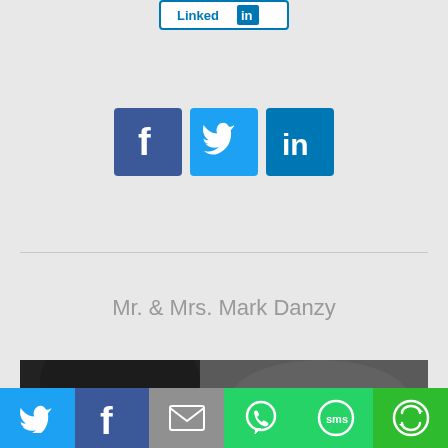[Figure (logo): LinkedIn button/badge at top of page]
[Figure (infographic): Three social media share buttons: Facebook (dark blue, f), Twitter (light blue, bird), LinkedIn (blue, in)]
Mr. & Mrs. Mark Danzy
[Figure (photo): Dark textured close-up photo, partially visible at bottom of page with a white bar overlay at bottom right]
[Figure (infographic): Bottom share bar with six buttons: Twitter (light blue, bird icon), Facebook (dark blue, f icon), Email (gray, envelope icon), WhatsApp (green, chat bubble icon), SMS (green, SMS icon), More (green, circular arrows icon)]